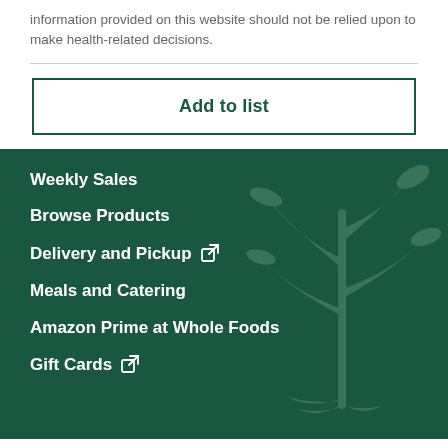information provided on this website should not be relied upon to make health-related decisions.
Add to list
Weekly Sales
Browse Products
Delivery and Pickup
Meals and Catering
Amazon Prime at Whole Foods
Gift Cards